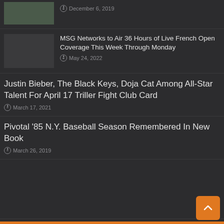December 6, 2019
MSG Networks to Air 36 Hours of Live French Open Coverage This Week Through Monday
May 24, 2022
Justin Bieber, The Black Keys, Doja Cat Among All-Star Talent For April 17 Triller Fight Club Card
March 17, 2021
Pivotal '85 N.Y. Baseball Season Remembered In New Book
March 26, 2019
LATEST POSTS
Topps NOW Timmy Trumpet Card Celebrates Diaz Save